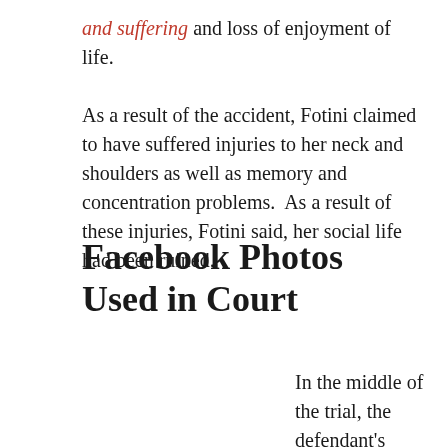and suffering and loss of enjoyment of life. As a result of the accident, Fotini claimed to have suffered injuries to her neck and shoulders as well as memory and concentration problems.  As a result of these injuries, Fotini said, her social life had been ruined.
Facebook Photos Used in Court
In the middle of the trial, the defendant's lawyers gained access to pictures of Fotini that she posted on